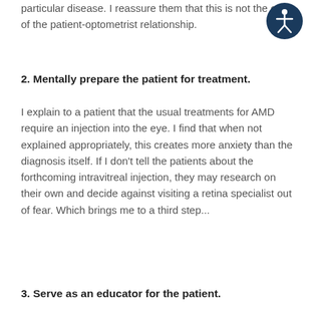particular disease. I reassure them that this is not the end of the patient-optometrist relationship.
[Figure (illustration): Accessibility icon: dark blue circle with white stick figure person in center]
2. Mentally prepare the patient for treatment.
I explain to a patient that the usual treatments for AMD require an injection into the eye. I find that when not explained appropriately, this creates more anxiety than the diagnosis itself. If I don't tell the patients about the forthcoming intravitreal injection, they may research on their own and decide against visiting a retina specialist out of fear. Which brings me to a third step...
3. Serve as an educator for the patient.